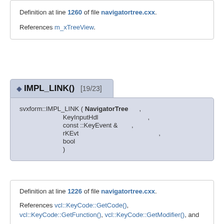Definition at line 1260 of file navigatortree.cxx.
References m_xTreeView.
◆ IMPL_LINK() [19/23]
svxform::IMPL_LINK ( NavigatorTree , KeyInputHdl , const ::KeyEvent & , rKEvt , bool )
Definition at line 1226 of file navigatortree.cxx.
References vcl::KeyCode::GetCode(), vcl::KeyCode::GetFunction(), vcl::KeyCode::GetModifier(), and